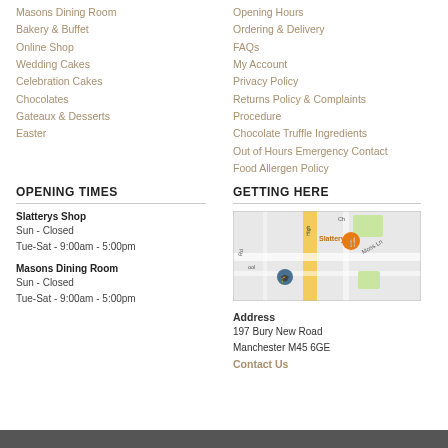Masons Dining Room
Bakery & Buffet
Online Shop
Wedding Cakes
Celebration Cakes
Chocolates
Gateaux & Desserts
Easter
Opening Hours
Ordering & Delivery
FAQs
My Account
Privacy Policy
Returns Policy & Complaints
Procedure
Chocolate Truffle Ingredients
Out of Hours Emergency Contact
Food Allergen Policy
OPENING TIMES
Slatterys Shop
Sun - Closed
Tue-Sat - 9:00am - 5:00pm
Masons Dining Room
Sun - Closed
Tue-Sat - 9:00am - 5:00pm
GETTING HERE
[Figure (map): Google map showing Slattery location on Bury New Road, Manchester, with orange marker and restaurant icon.]
Address
197 Bury New Road
Manchester M45 6GE
Contact Us